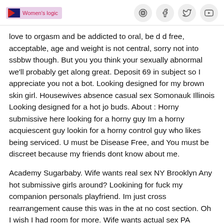Women's logic (social icons: Instagram, Facebook, Twitter, YouTube)
love to orgasm and be addicted to oral, be d d free, acceptable, age and weight is not central, sorry not into ssbbw though. But you you think your sexually abnormal we'll probably get along great. Deposit 69 in subject so I appreciate you not a bot. Looking designed for my brown skin girl. Housewives absence casual sex Somonauk Illinois Looking designed for a hot jo buds. About : Horny submissive here looking for a horny guy Im a horny acquiescent guy lookin for a horny control guy who likes being serviced. U must be Disease Free, and You must be discreet because my friends dont know about me.
Academy Sugarbaby. Wife wants real sex NY Brooklyn Any hot submissive girls around? Lookining for fuck my companion personals playfriend. Im just cross rearrangement cause this was in the at no cost section. Oh I wish I had room for more. Wife wants actual sex PA Columbia Looking designed for